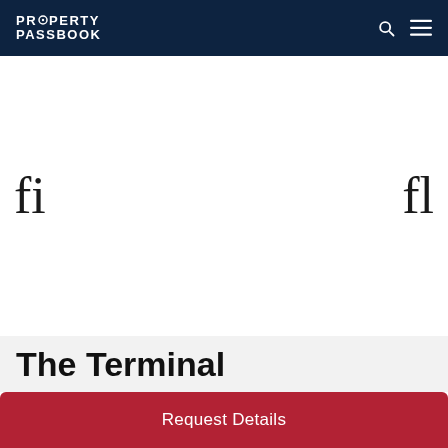PROPERTY PASSBOOK
[Figure (illustration): Decorative ligature characters 'fi' on the left and 'fl' on the right, displayed in a serif font on a white background]
The Terminal
Request Details